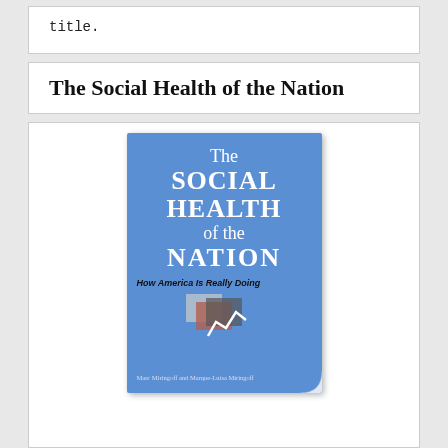title.
The Social Health of the Nation
[Figure (photo): Book cover of 'The Social Health of the Nation: How America is Really Doing' by Marc Miringoff and Marque-Luisa Miringoff. Blue cover with white text showing the title in large letters, a subtitle in dark text, a small graphic image of overlapping photos/charts, and the authors' names at the bottom. The bottom-right corner has a page curl effect.]